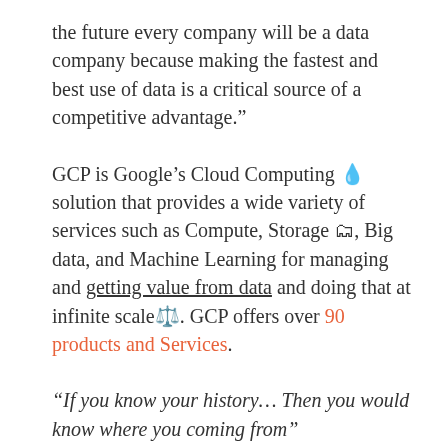the future every company will be a data company because making the fastest and best use of data is a critical source of a competitive advantage.”
GCP is Google’s Cloud Computing ☁️ solution that provides a wide variety of services such as Compute, Storage 🗂, Big data, and Machine Learning for managing and getting value from data and doing that at infinite scale ⚖️. GCP offers over 90 products and Services.
“If you know your history… Then you would know where you coming from”
In 2006, AWS began offering cloud computing